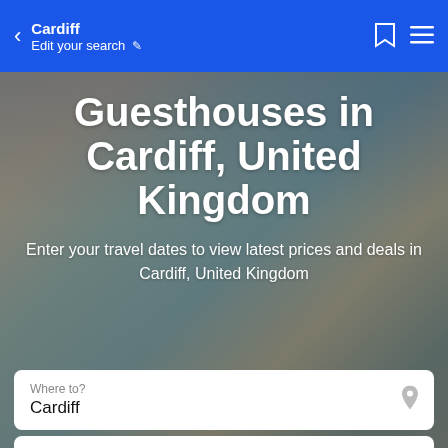Cardiff | Edit your search
Guesthouses in Cardiff, United Kingdom
Enter your travel dates to view latest prices and deals in Cardiff, United Kingdom
Where to?
Cardiff
Passengers
1 adult, 1 room
When?